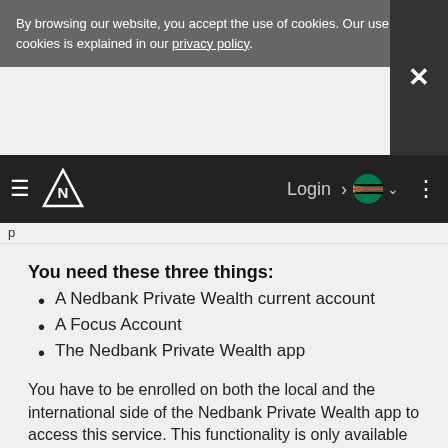By browsing our website, you accept the use of cookies. Our use of cookies is explained in our privacy policy.
Nedbank navigation bar with login and country selector
You need these three things:
A Nedbank Private Wealth current account
A Focus Account
The Nedbank Private Wealth app
You have to be enrolled on both the local and the international side of the Nedbank Private Wealth app to access this service. This functionality is only available between 8:30AM and 4:30PM (GMT+2) on South African working days.
How to download the app
To find out more about how our award-winning app makes your personal wealth management easier and